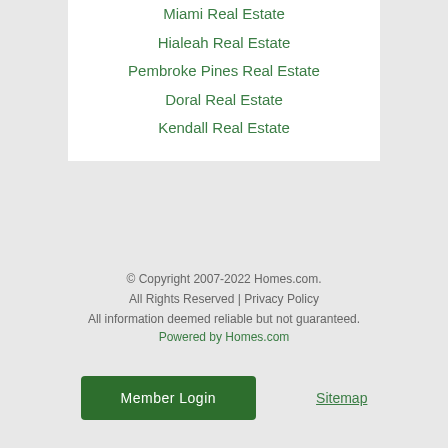Miami Real Estate
Hialeah Real Estate
Pembroke Pines Real Estate
Doral Real Estate
Kendall Real Estate
© Copyright 2007-2022 Homes.com. All Rights Reserved | Privacy Policy All information deemed reliable but not guaranteed. Powered by Homes.com
Member Login
Sitemap